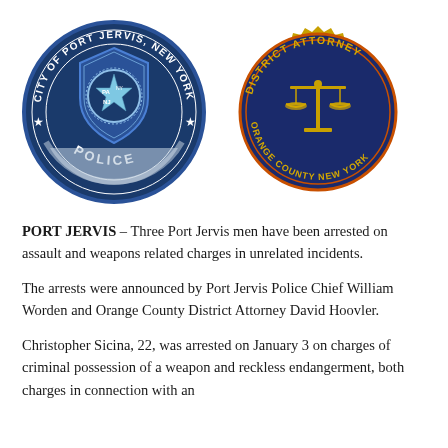[Figure (logo): City of Port Jervis, New York Police Department circular badge/seal — dark navy blue with a shield containing a star, laurel wreath, and state abbreviations NY, PA, NJ. Text around the perimeter reads CITY OF PORT JERVIS, NEW YORK and POLICE with two stars.]
[Figure (logo): Orange County New York District Attorney circular seal — dark navy blue with gold serrated edge, featuring scales of justice in gold. Text around perimeter reads DISTRICT ATTORNEY and ORANGE COUNTY NEW YORK in gold lettering.]
PORT JERVIS – Three Port Jervis men have been arrested on assault and weapons related charges in unrelated incidents.
The arrests were announced by Port Jervis Police Chief William Worden and Orange County District Attorney David Hoovler.
Christopher Sicina, 22, was arrested on January 3 on charges of criminal possession of a weapon and reckless endangerment, both charges in connection with an